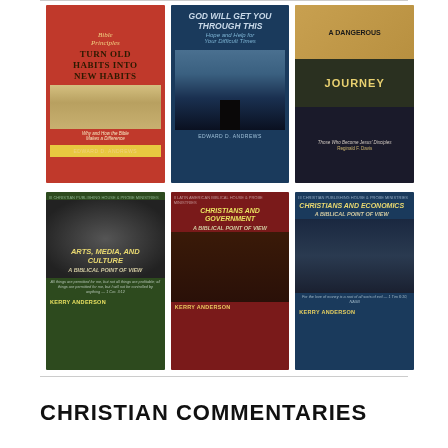[Figure (illustration): Grid of 6 book covers in two rows of 3. Row 1: 'Bible Principles - Turn Old Habits Into New Habits' by Edward D. Andrews (red cover), 'God Will Get You Through This - Hope and Help for Your Difficult Times' by Edward D. Andrews (blue cover with person on pier), 'A Dangerous Journey - Those Who Become Jesus Disciples' by Reginald F. Davis (gold/dark cover with group photo). Row 2: 'Arts, Media, and Culture - A Biblical Point of View' by Kerry Anderson (dark green cover with crowd), 'Christians and Government - A Biblical Point of View' by Kerry Anderson (dark red cover with flag scene), 'Christians and Economics - A Biblical Point of View' by Kerry Anderson (dark blue cover with businessmen).]
CHRISTIAN COMMENTARIES